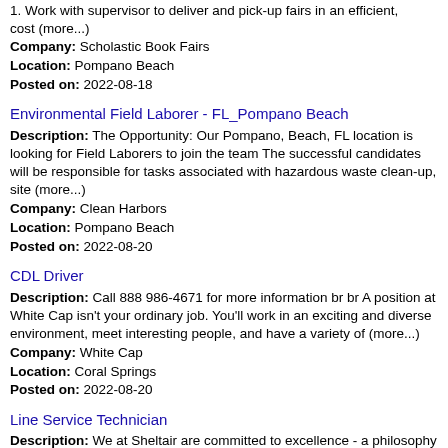1. Work with supervisor to deliver and pick-up fairs in an efficient, cost (more...)
Company: Scholastic Book Fairs
Location: Pompano Beach
Posted on: 2022-08-18
Environmental Field Laborer - FL_Pompano Beach
Description: The Opportunity: Our Pompano, Beach, FL location is looking for Field Laborers to join the team The successful candidates will be responsible for tasks associated with hazardous waste clean-up, site (more...)
Company: Clean Harbors
Location: Pompano Beach
Posted on: 2022-08-20
CDL Driver
Description: Call 888 986-4671 for more information br br A position at White Cap isn't your ordinary job. You'll work in an exciting and diverse environment, meet interesting people, and have a variety of (more...)
Company: White Cap
Location: Coral Springs
Posted on: 2022-08-20
Line Service Technician
Description: We at Sheltair are committed to excellence - a philosophy that can be seen in everything we do. Because of our heritage in the construction and aviation industry, we understand